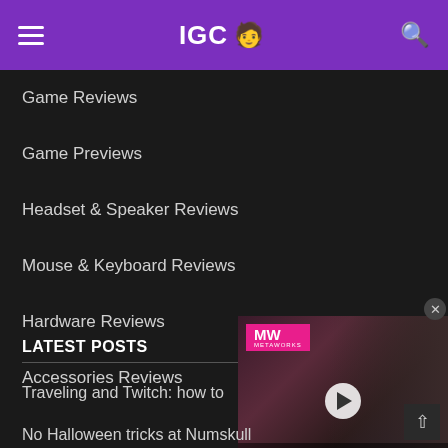IGC 🧑 [hamburger menu] [search icon]
Game Reviews
Game Previews
Headset & Speaker Reviews
Mouse & Keyboard Reviews
Hardware Reviews
Accessories Reviews
LATEST POSTS
[Figure (screenshot): MW (Metaworks) video ad overlay for Xbox Game Pass September 2022, showing soldiers in background with a play button]
Traveling and Twitch: how to
No Halloween tricks at Numskull
FACEIT partners with Team Vitality to launch new gaming